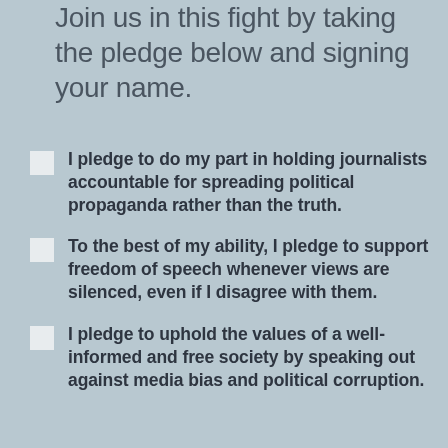Join us in this fight by taking the pledge below and signing your name.
I pledge to do my part in holding journalists accountable for spreading political propaganda rather than the truth.
To the best of my ability, I pledge to support freedom of speech whenever views are silenced, even if I disagree with them.
I pledge to uphold the values of a well-informed and free society by speaking out against media bias and political corruption.